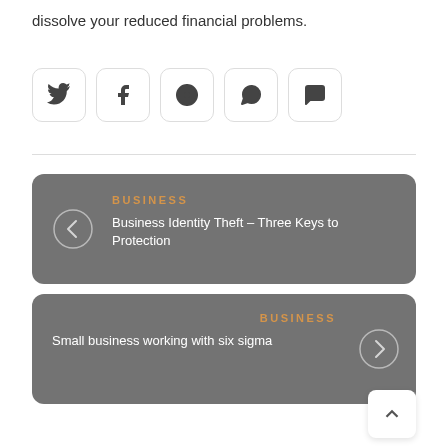dissolve your reduced financial problems.
[Figure (infographic): Row of five social media sharing icon buttons (Twitter, Facebook, Pinterest, WhatsApp, Chat/SMS) each in a rounded square border]
[Figure (infographic): Navigation card with left arrow, BUSINESS label in orange, and link title: Business Identity Theft - Three Keys to Protection]
[Figure (infographic): Navigation card with right arrow, BUSINESS label in orange, and link title: Small business working with six sigma]